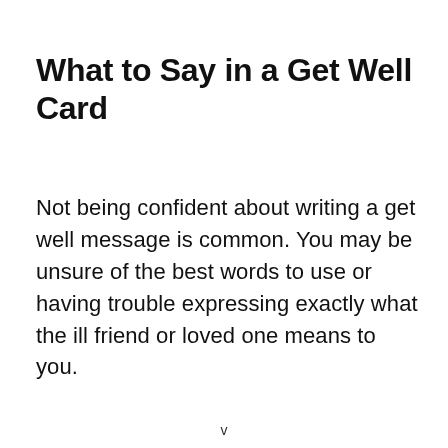What to Say in a Get Well Card
Not being confident about writing a get well message is common. You may be unsure of the best words to use or having trouble expressing exactly what the ill friend or loved one means to you.
v